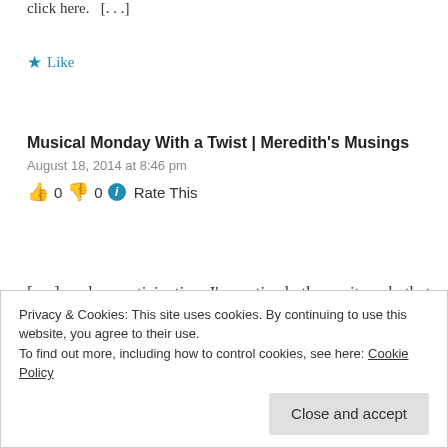click here.  [...]
★ Like
Musical Monday With a Twist | Meredith's Musings
August 18, 2014 at 8:46 pm
👍 0 👎 0 ℹ Rate This
[...] evokes participation. I've noticed other writers do that very thing. Ronovan's Wordless Haiku,
Privacy & Cookies: This site uses cookies. By continuing to use this website, you agree to their use. To find out more, including how to control cookies, see here: Cookie Policy
Close and accept